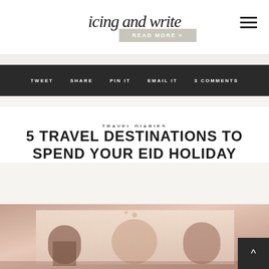icing and write
READ MORE »
TWEET  SHARE  PIN IT  EMAIL IT  3 COMMENTS
TRAVEL DIARIES
5 TRAVEL DESTINATIONS TO SPEND YOUR EID HOLIDAY
[Figure (photo): Photograph of a Moroccan or Middle Eastern architectural scene with arched doorways and terracotta walls]